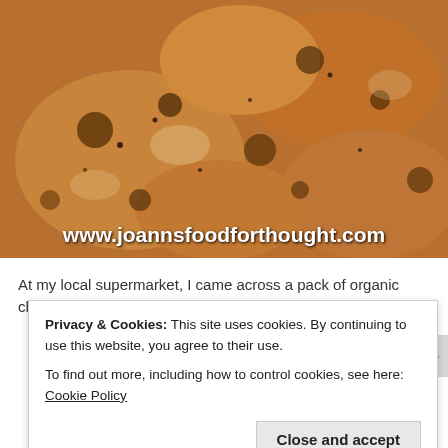[Figure (photo): Close-up photo of seasoned, grilled/baked chicken pieces with spices and char marks, with watermark text 'www.joannsfoodforthought.com' overlaid at the bottom]
At my local supermarket, I came across a pack of organic chicken
Privacy & Cookies: This site uses cookies. By continuing to use this website, you agree to their use.
To find out more, including how to control cookies, see here: Cookie Policy
Close and accept